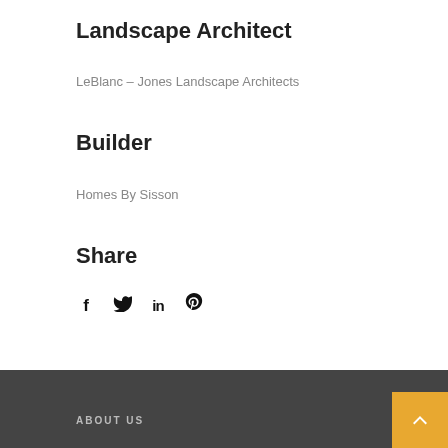Landscape Architect
LeBlanc – Jones Landscape Architects
Builder
Homes By Sisson
Share
[Figure (other): Social media share icons: Facebook (f), Twitter (bird/t), LinkedIn (in), Pinterest (p)]
ABOUT US